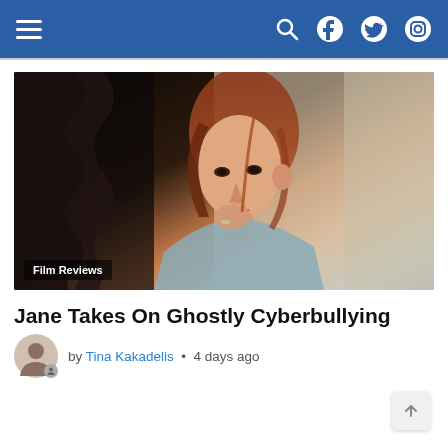Navigation bar with hamburger menu, search, Facebook, Twitter, and Instagram icons
[Figure (photo): A red-haired woman looking pensive, touching her lips with her fingers, with a decorative dark background. Overlaid badge reads 'Film Reviews'.]
Jane Takes On Ghostly Cyberbullying
by Tina Kakadelis • 4 days ago